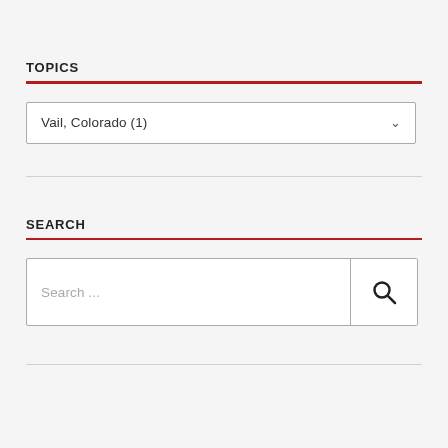TOPICS
Vail, Colorado  (1)
SEARCH
Search ...